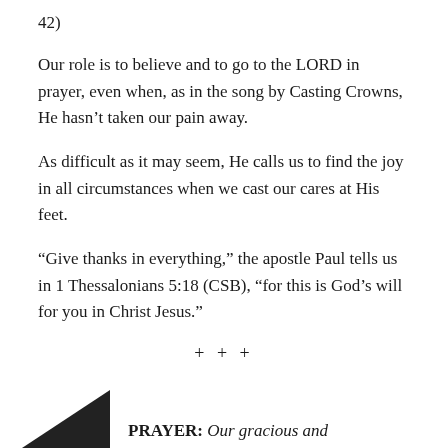42)
Our role is to believe and to go to the LORD in prayer, even when, as in the song by Casting Crowns, He hasn’t taken our pain away.
As difficult as it may seem, He calls us to find the joy in all circumstances when we cast our cares at His feet.
“Give thanks in everything,” the apostle Paul tells us in 1 Thessalonians 5:18 (CSB), “for this is God’s will for you in Christ Jesus.”
+ + +
PRAYER: Our gracious and